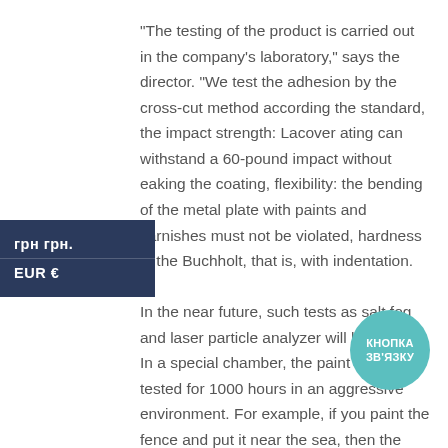“The testing of the product is carried out in the company’s laboratory,” says the director. “We test the adhesion by the cross-cut method according the standard, the impact strength: Lacover ating can withstand a 60-pound impact without eaking the coating, flexibility: the bending of the metal plate with paints and varnishes must not be violated, hardness in the Buchholt, that is, with indentation.

In the near future, such tests as salt fog and laser particle analyzer will be added. In a special chamber, the paint will be tested for 1000 hours in an aggressive environment. For example, if you paint the fence and put it near the sea, then the conditions there will differ significantly from the conditions in Kyiv. A laser particle analyzer will